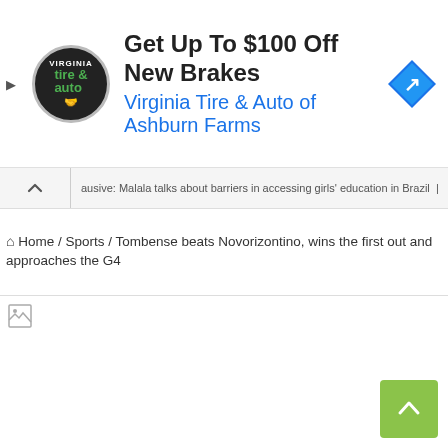[Figure (screenshot): Advertisement banner for Virginia Tire & Auto of Ashburn Farms. Circular logo on left with tire & auto branding, green text. Bold text reading 'Get Up To $100 Off New Brakes', blue subtext 'Virginia Tire & Auto of Ashburn Farms'. Blue diamond navigation icon on right.]
ausive: Malala talks about barriers in accessing girls' education in Brazil |
Home / Sports / Tombense beats Novorizontino, wins the first out and approaches the G4
[Figure (photo): Broken/loading image placeholder for article about Tombense beats Novorizontino]